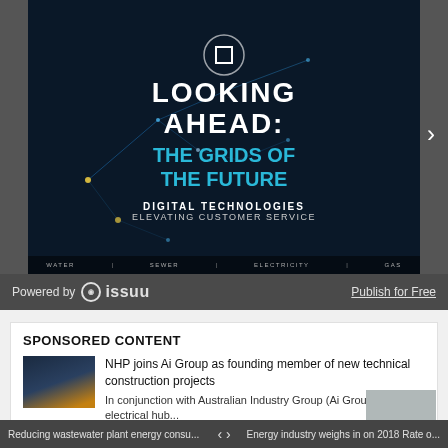[Figure (screenshot): Issuu embedded magazine viewer showing a cover with 'LOOKING AHEAD: THE GRIDS OF THE FUTURE – DIGITAL TECHNOLOGIES ELEVATING CUSTOMER SERVICE' over a dark blue network map background. Navigation arrow on right side.]
Powered by  issuu    Publish for Free
SPONSORED CONTENT
[Figure (photo): Small thumbnail image showing an industrial/electrical scene with dark blue and yellow tones]
NHP joins Ai Group as founding member of new technical construction projects
In conjunction with Australian Industry Group (Ai Group) and the electrical hub...
Reducing wastewater plant energy consu...    <    >    Energy industry weighs in on 2018 Rate o...